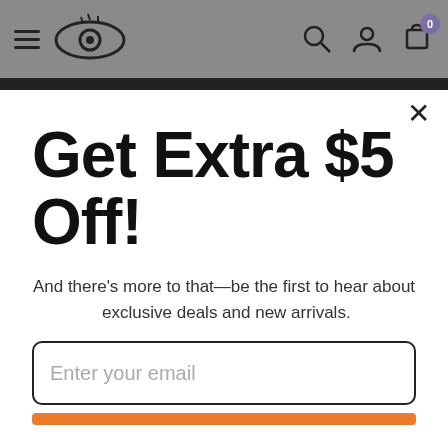[Figure (screenshot): Website navigation bar with hamburger menu, eye logo, search icon, user icon, and shopping cart with badge showing 0]
Get Extra $5 Off!
And there's more to that—be the first to hear about  exclusive deals and new arrivals.
Enter your email